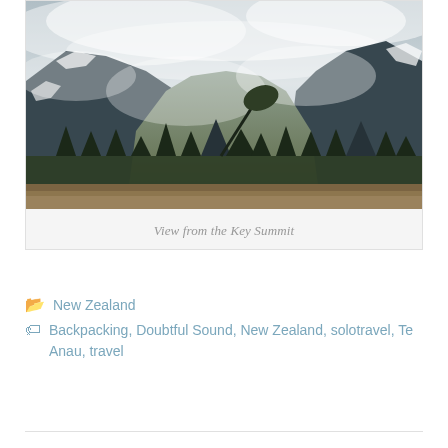[Figure (photo): Mountain landscape with mist and clouds over rugged peaks, green trees and shrubs in the foreground, brown grassy field at the bottom. View from the Key Summit, New Zealand.]
View from the Key Summit
New Zealand
Backpacking, Doubtful Sound, New Zealand, solotravel, Te Anau, travel